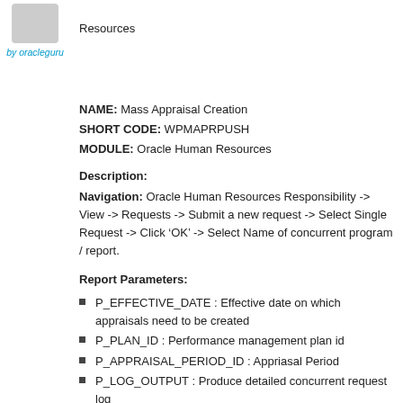[Figure (photo): Avatar/profile image placeholder]
by oracleguru
Resources
NAME: Mass Appraisal Creation
SHORT CODE: WPMAPRPUSH
MODULE: Oracle Human Resources
Description:
Navigation: Oracle Human Resources Responsibility -> View -> Requests -> Submit a new request -> Select Single Request -> Click ‘OK’ -> Select Name of concurrent program / report.
Report Parameters:
P_EFFECTIVE_DATE : Effective date on which appraisals need to be created
P_PLAN_ID : Performance management plan id
P_APPRAISAL_PERIOD_ID : Appriasal Period
P_LOG_OUTPUT : Produce detailed concurrent request log
P_DELETE_PENDING_TRANS : Enable delete